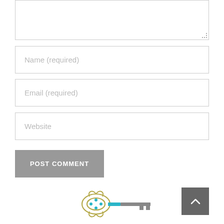[Figure (screenshot): Textarea input box (partially visible at top of page) with resize handle in bottom-right corner]
[Figure (screenshot): Text input field with placeholder text 'Name (required)']
[Figure (screenshot): Text input field with placeholder text 'Email (required)']
[Figure (screenshot): Text input field with placeholder text 'Website']
[Figure (screenshot): Gray button labeled 'POST COMMENT' in white uppercase bold text]
[Figure (logo): Decorative key logo with olive/gold ornamental bow, teal accent, and gray barrel/bit, partially visible at bottom center of page]
[Figure (screenshot): Dark gray back-to-top button with upward chevron arrow icon, positioned at bottom right]